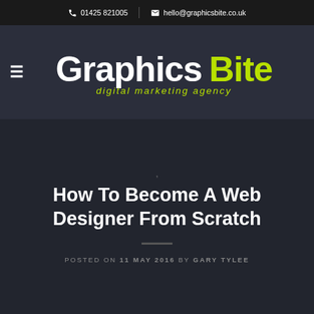📞 01425 821005 | ✉ hello@graphicsbite.co.uk
[Figure (logo): Graphics Bite digital marketing agency logo — white 'Graphics' and lime-green 'Bite' bold text with lime-green italic tagline 'digital marketing agency']
How To Become A Web Designer From Scratch
POSTED ON 11 MAY 2016 BY GARY TYLEE